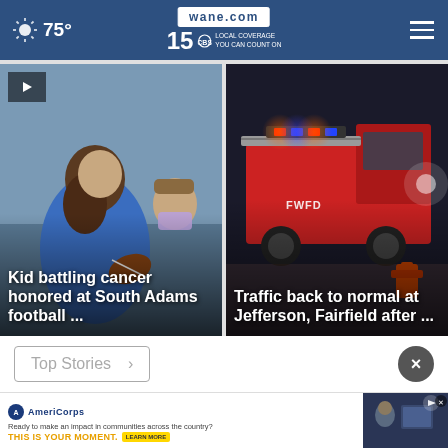75° | wane.com 15 LOCAL COVERAGE YOU CAN COUNT ON
[Figure (screenshot): News card: Kid battling cancer honored at South Adams football... - person holding football with child in mask]
[Figure (screenshot): News card: Traffic back to normal at Jefferson, Fairfield after ... - fire truck at night scene]
Top Stories >
[Figure (photo): AmeriCorps advertisement banner - Ready to make an impact in communities across the country? THIS IS YOUR MOMENT. LEARN MORE]